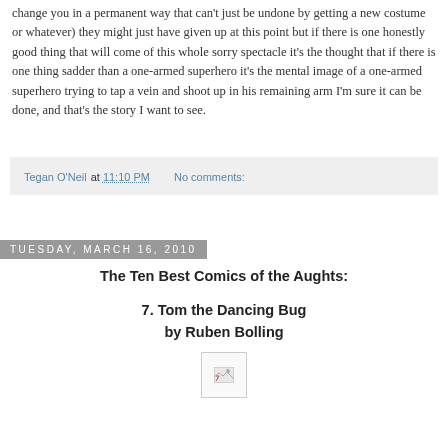change you in a permanent way that can't just be undone by getting a new costume or whatever) they might just have given up at this point but if there is one honestly good thing that will come of this whole sorry spectacle it's the thought that if there is one thing sadder than a one-armed superhero it's the mental image of a one-armed superhero trying to tap a vein and shoot up in his remaining arm I'm sure it can be done, and that's the story I want to see.
Tegan O'Neil at 11:10 PM   No comments:
Tuesday, March 16, 2010
The Ten Best Comics of the Aughts:

7. Tom the Dancing Bug
by Ruben Bolling
[Figure (photo): Broken/missing image placeholder icon]